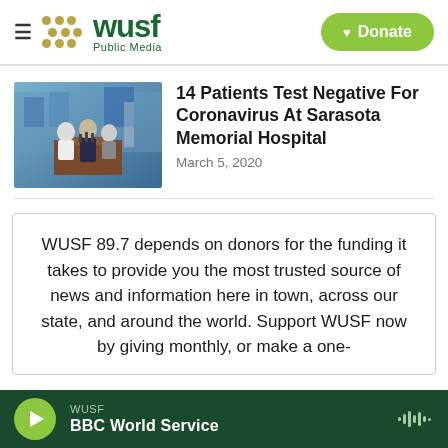WUSF Public Media — Donate
[Figure (photo): Press conference photo showing doctors/officials at a podium with microphones]
14 Patients Test Negative For Coronavirus At Sarasota Memorial Hospital
March 5, 2020
WUSF 89.7 depends on donors for the funding it takes to provide you the most trusted source of news and information here in town, across our state, and around the world. Support WUSF now by giving monthly, or make a one-
WUSF BBC World Service